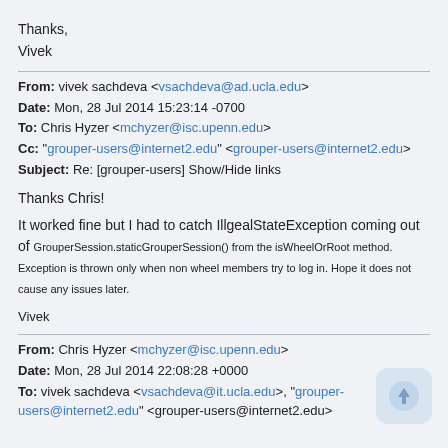Thanks,
Vivek
From: vivek sachdeva <vsachdeva@ad.ucla.edu>
Date: Mon, 28 Jul 2014 15:23:14 -0700
To: Chris Hyzer <mchyzer@isc.upenn.edu>
Cc: "grouper-users@internet2.edu" <grouper-users@internet2.edu>
Subject: Re: [grouper-users] Show/Hide links
Thanks Chris!
It worked fine but I had to catch IllgealStateException coming out of GrouperSession.staticGrouperSession() from the isWheelOrRoot method. Exception is thrown only when non wheel members try to log in. Hope it does not cause any issues later.
Vivek
From: Chris Hyzer <mchyzer@isc.upenn.edu>
Date: Mon, 28 Jul 2014 22:08:28 +0000
To: vivek sachdeva <vsachdeva@it.ucla.edu>, "grouper-users@internet2.edu" <grouper-users@internet2.edu>